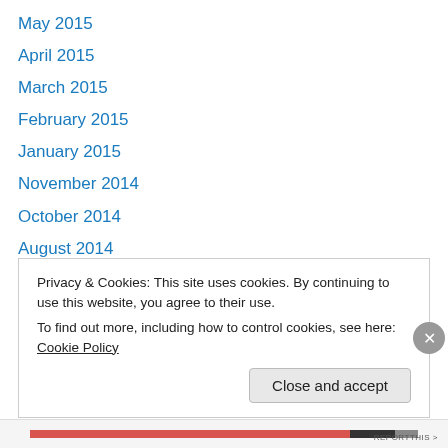May 2015
April 2015
March 2015
February 2015
January 2015
November 2014
October 2014
August 2014
July 2014
June 2014
May 2014
April 2014
March 2014
Privacy & Cookies: This site uses cookies. By continuing to use this website, you agree to their use. To find out more, including how to control cookies, see here: Cookie Policy
Close and accept